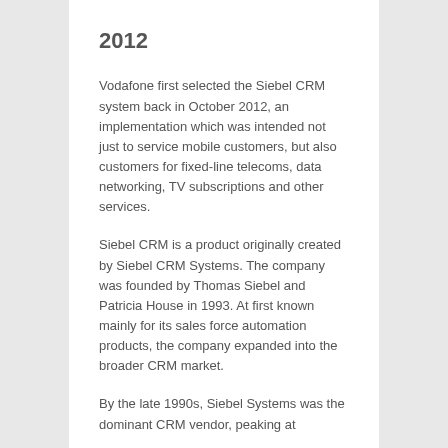2012
Vodafone first selected the Siebel CRM system back in October 2012, an implementation which was intended not just to service mobile customers, but also customers for fixed-line telecoms, data networking, TV subscriptions and other services.
Siebel CRM is a product originally created by Siebel CRM Systems. The company was founded by Thomas Siebel and Patricia House in 1993. At first known mainly for its sales force automation products, the company expanded into the broader CRM market.
By the late 1990s, Siebel Systems was the dominant CRM vendor, peaking at